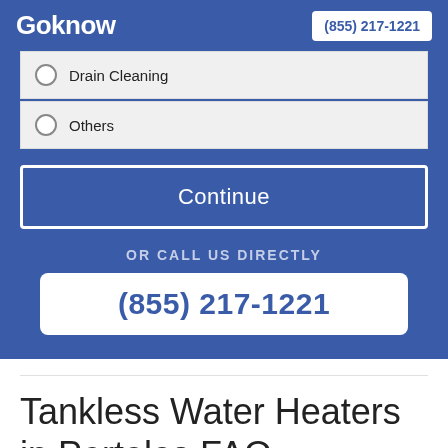Goknow | (855) 217-1221
Drain Cleaning
Others
Continue
OR CALL US DIRECTLY
(855) 217-1221
Tankless Water Heaters in Portales FAQ
Are there any Downsides to Tankless Water